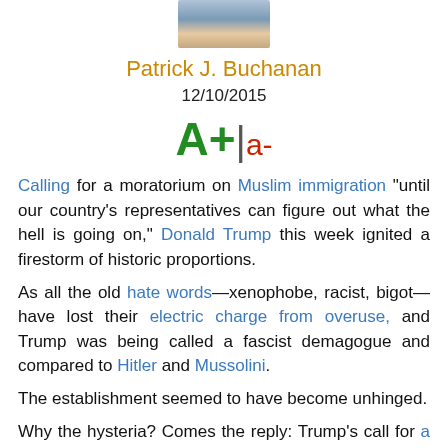[Figure (photo): Cropped photo of Patrick J. Buchanan, showing upper body/face]
Patrick J. Buchanan
12/10/2015
A+|a-
Calling for a moratorium on Muslim immigration "until our country's representatives can figure out what the hell is going on," Donald Trump this week ignited a firestorm of historic proportions. As all the old hate words—xenophobe, racist, bigot—have lost their electric charge from overuse, and Trump was being called a fascist demagogue and compared to Hitler and Mussolini.

The establishment seemed to have become unhinged.

Why the hysteria? Comes the reply: Trump's call for a temporary ban on Muslim immigration tramples all over